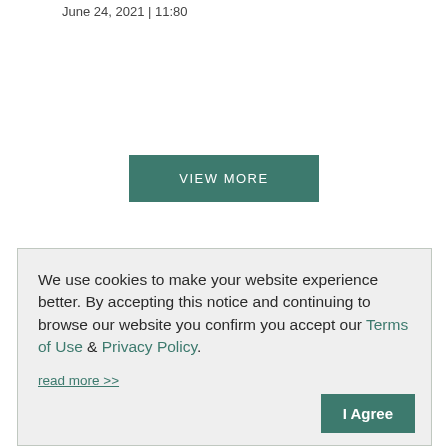June 24, 2021 | 11:80
VIEW MORE
SUBSCRIBE TO ADVISOR'S EDGE
Newsletters
Magazine
FOLLOW US
We use cookies to make your website experience better. By accepting this notice and continuing to browse our website you confirm you accept our Terms of Use & Privacy Policy.
read more >>
I Agree